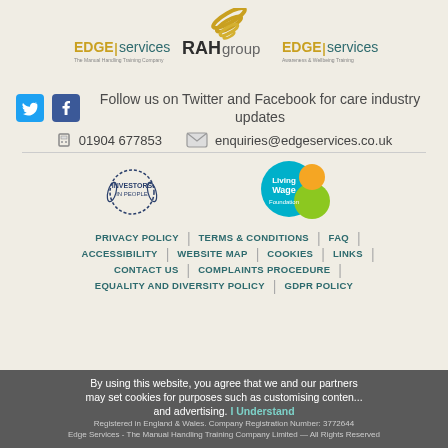[Figure (logo): EDGE services, RAH group, and EDGE services Awareness & Wellbeing Training logos with decorative circular motif above]
Follow us on Twitter and Facebook for care industry updates
01904 677853   enquiries@edgeservices.co.uk
[Figure (logo): Investors in People logo and Living Wage Foundation logo]
PRIVACY POLICY | TERMS & CONDITIONS | FAQ
ACCESSIBILITY | WEBSITE MAP | COOKIES | LINKS
CONTACT US | COMPLAINTS PROCEDURE
EQUALITY AND DIVERSITY POLICY | GDPR POLICY
By using this website, you agree that we and our partners may set cookies for purposes such as customising content and advertising. I Understand
Registered in England & Wales. Company Registration Number: 3772644. Edge Services - The Manual Handling Training Company Limited — All Rights Reserved